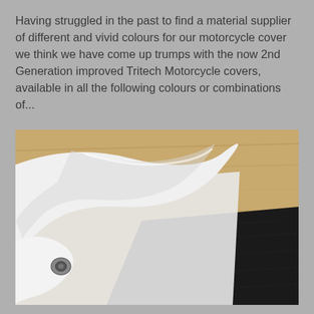Having struggled in the past to find a material supplier of different and vivid colours for our motorcycle cover we think we have come up trumps with the now 2nd Generation improved Tritech Motorcycle covers, available in all the following colours or combinations of...
[Figure (photo): Close-up photo of motorcycle cover material samples on a wooden surface. A white/light grey fabric sample is curled/folded showing its inner white lining with a metal eyelet, and a flat black textured fabric sample is visible in the lower right.]